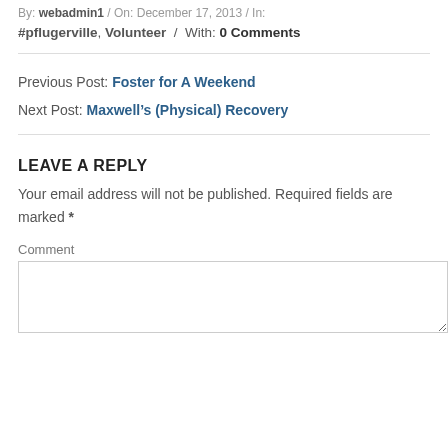By: webadmin1 / On: December 17, 2013 / In:
#pflugerville, Volunteer / With: 0 Comments
Previous Post: Foster for A Weekend
Next Post: Maxwell's (Physical) Recovery
LEAVE A REPLY
Your email address will not be published. Required fields are marked *
Comment